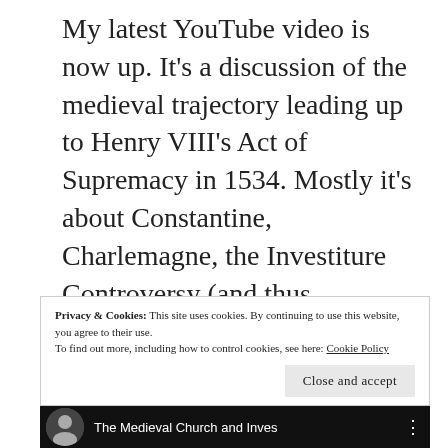My latest YouTube video is now up. It's a discussion of the medieval trajectory leading up to Henry VIII's Act of Supremacy in 1534. Mostly it's about Constantine, Charlemagne, the Investiture Controversy (and thus Lanfranc, Anselm, William the Bastard, William Rufus, Thomas Becket, Leo IX, Gregory VII, King John, Innocent III), papal placements in prebends (and St Bernard and Robert Grosseteste), and King Edward III.
Privacy & Cookies: This site uses cookies. By continuing to use this website, you agree to their use.
To find out more, including how to control cookies, see here: Cookie Policy
[Figure (screenshot): Video thumbnail showing 'The Medieval Church and Inves...' title with a person visible]